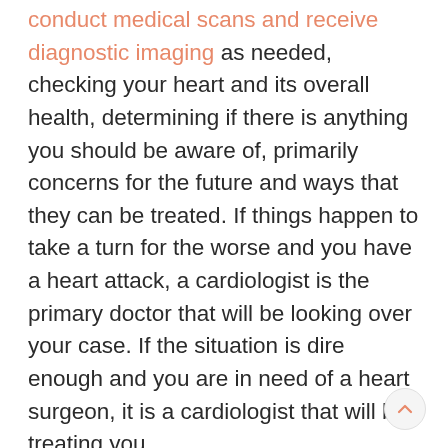conduct medical scans and receive diagnostic imaging as needed, checking your heart and its overall health, determining if there is anything you should be aware of, primarily concerns for the future and ways that they can be treated. If things happen to take a turn for the worse and you have a heart attack, a cardiologist is the primary doctor that will be looking over your case. If the situation is dire enough and you are in need of a heart surgeon, it is a cardiologist that will be treating you.